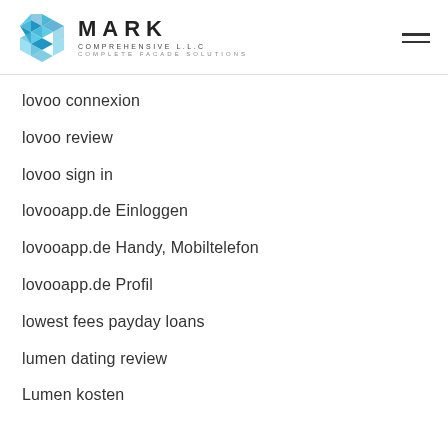MARK COMPREHENSIVE L.L.C COMPLETE FACADE SOLUTIONS
lovoo connexion
lovoo review
lovoo sign in
lovooapp.de Einloggen
lovooapp.de Handy, Mobiltelefon
lovooapp.de Profil
lowest fees payday loans
lumen dating review
Lumen kosten